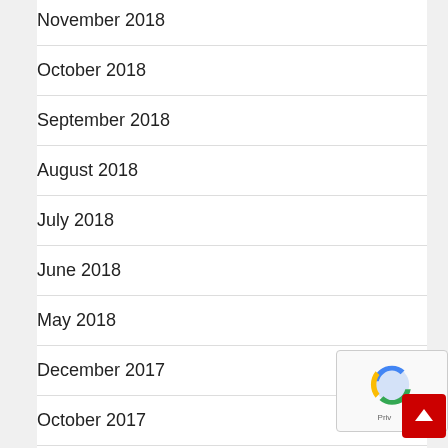November 2018
October 2018
September 2018
August 2018
July 2018
June 2018
May 2018
December 2017
October 2017